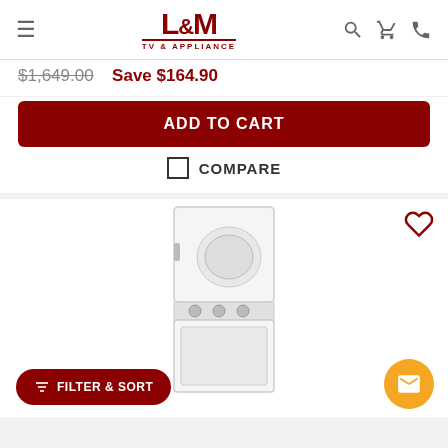L&M TV & APPLIANCE
$1,649.00  Save $164.90
ADD TO CART
COMPARE
[Figure (photo): White stackable washer and dryer unit]
FILTER & SORT